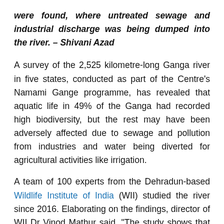were found, where untreated sewage and industrial discharge was being dumped into the river. – Shivani Azad
A survey of the 2,525 kilometre-long Ganga river in five states, conducted as part of the Centre's Namami Gange programme, has revealed that aquatic life in 49% of the Ganga had recorded high biodiversity, but the rest may have been adversely affected due to sewage and pollution from industries and water being diverted for agricultural activities like irrigation.
A team of 100 experts from the Dehradun-based Wildlife Institute of India (WII) studied the river since 2016. Elaborating on the findings, director of WII Dr Vinod Mathur said, "The study shows that 49% of the river had breeding population of aquatic fauna such as dolphins,